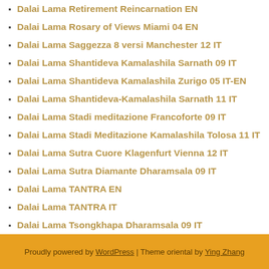Dalai Lama Retirement Reincarnation EN
Dalai Lama Rosary of Views Miami 04 EN
Dalai Lama Saggezza 8 versi Manchester 12 IT
Dalai Lama Shantideva Kamalashila Sarnath 09 IT
Dalai Lama Shantideva Kamalashila Zurigo 05 IT-EN
Dalai Lama Shantideva-Kamalashila Sarnath 11 IT
Dalai Lama Stadi meditazione Francoforte 09 IT
Dalai Lama Stadi Meditazione Kamalashila Tolosa 11 IT
Dalai Lama Sutra Cuore Klagenfurt Vienna 12 IT
Dalai Lama Sutra Diamante Dharamsala 09 IT
Dalai Lama TANTRA EN
Dalai Lama TANTRA IT
Dalai Lama Tsongkhapa Dharamsala 09 IT
Dalai Lama Tzonghkapa Lamrim Dharamsala 08 IT
Dalai Lama Una vita etica IT
Dalai Lama Vajrasattva Washington 84 IT-EN
Dalai Lama Zangskar 2009 EN
Dalai Lama Zangskar Padum 09 IT
Proudly powered by WordPress | Theme oriental by Ying Zhang